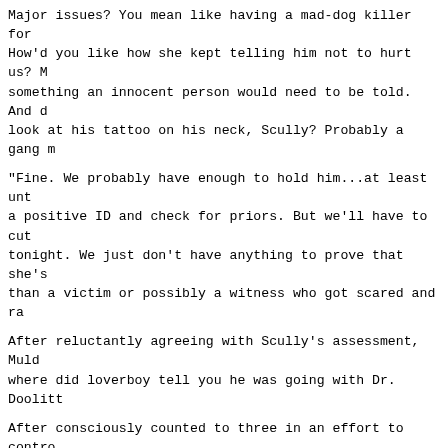Major issues? You mean like having a mad-dog killer for How'd you like how she kept telling him not to hurt us? M something an innocent person would need to be told. And d look at his tattoo on his neck, Scully? Probably a gang m
"Fine. We probably have enough to hold him...at least unt a positive ID and check for priors. But we'll have to cut tonight. We just don't have anything to prove that she's than a victim or possibly a witness who got scared and ra
After reluctantly agreeing with Scully's assessment, Muld where did loverboy tell you he was going with Dr. Doolitt
After consciously counted to three in an effort to contro Scully stated, "Assuming that you're referring to Nick an they went to eat and will rejoin us later."
*****
Sunnydale High School Library 5:25 P.M.
"Hello? Is anybody home?"
Looking up from a volume of 'Jane's Demonic Anthology,' G pair of faces -- one belonging to an old friend -- that h in several months.
"Derek! What brings you back to Sunnydale?"
After shaking hands with his Oxford classmate, he turned